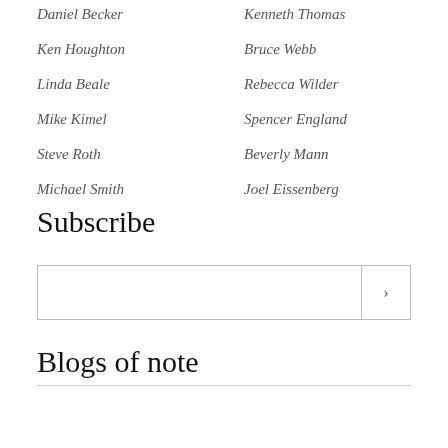Daniel Becker
Kenneth Thomas
Ken Houghton
Bruce Webb
Linda Beale
Rebecca Wilder
Mike Kimel
Spencer England
Steve Roth
Beverly Mann
Michael Smith
Joel Eissenberg
Subscribe
Blogs of note